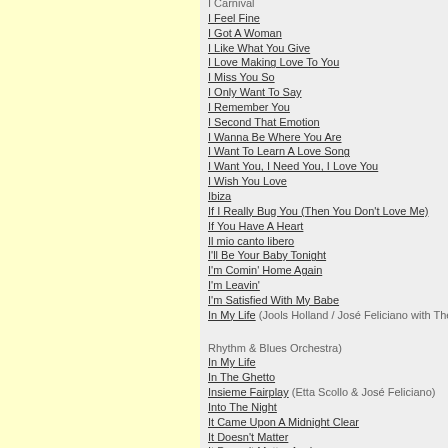I Carnival
I Feel Fine
I Got A Woman
I Like What You Give
I Love Making Love To You
I Miss You So
I Only Want To Say
I Remember You
I Second That Emotion
I Wanna Be Where You Are
I Want To Learn A Love Song
I Want You, I Need You, I Love You
I Wish You Love
Ibiza
If I Really Bug You (Then You Don't Love Me)
If You Have A Heart
Il mio canto libero
I'll Be Your Baby Tonight
I'm Comin' Home Again
I'm Leavin'
I'm Satisfied With My Babe
In My Life (Jools Holland / José Feliciano with The Rhythm & Blues Orchestra)
In My Life
In The Ghetto
Insieme Fairplay (Etta Scollo & José Feliciano)
Into The Night
It Came Upon A Midnight Clear
It Doesn't Matter
It Doesn't Matter Anyhow
It Doesn't Matter Anymore
It's Midnight
I've Got Feeling
I've Got To Convince Myself
I've Gotta Get A Message To You
Jealous Guy
Jingle Bells
Just A Little Bit Of Rain